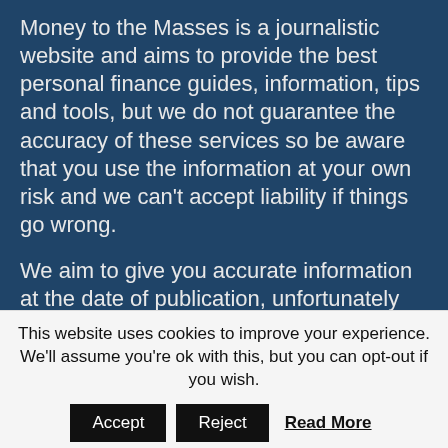Money to the Masses is a journalistic website and aims to provide the best personal finance guides, information, tips and tools, but we do not guarantee the accuracy of these services so be aware that you use the information at your own risk and we can't accept liability if things go wrong.

We aim to give you accurate information at the date of publication, unfortunately price and terms and conditions of products and offers can change, so double check first. Leadenhall Learning, Money to the Masses, 80-20 Investor, Damien's Money MOT nor its content providers are responsible for
This website uses cookies to improve your experience. We'll assume you're ok with this, but you can opt-out if you wish.
Accept   Reject   Read More